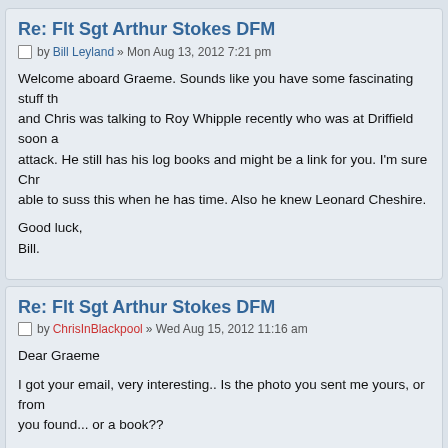Re: Flt Sgt Arthur Stokes DFM
by Bill Leyland » Mon Aug 13, 2012 7:21 pm
Welcome aboard Graeme. Sounds like you have some fascinating stuff th and Chris was talking to Roy Whipple recently who was at Driffield soon a attack. He still has his log books and might be a link for you. I'm sure Chr able to suss this when he has time. Also he knew Leonard Cheshire.
Good luck,
Bill.
Re: Flt Sgt Arthur Stokes DFM
by ChrisInBlackpool » Wed Aug 15, 2012 11:16 am
Dear Graeme
I got your email, very interesting.. Is the photo you sent me yours, or from you found... or a book??
I did just want to say welcome to the forum, and great that you have settl are posting.. a few of the main people are on hols right now so its gone a quiet..
Arthur's page on the site is in my todo list.. but I am really waiting for a br from you before I get cracking..